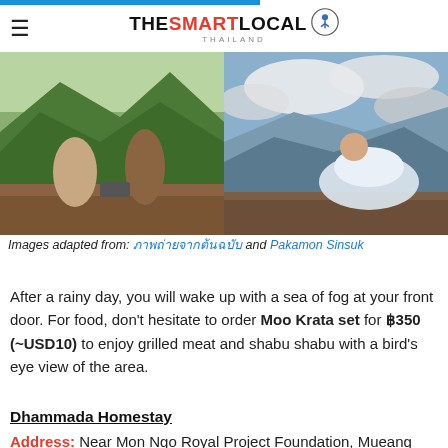THE SMART LOCAL THAILAND
[Figure (photo): Two women dining on a wooden deck with mountain green forest view (left); Person sitting on a bed/terrace wrapped in white sheets looking at misty mountain landscape (right)]
Images adapted from: ภาพถ่ายจากต้นฉบับ and Pakamon Sinsuk
After a rainy day, you will wake up with a sea of fog at your front door. For food, don't hesitate to order Moo Krata set for ฿350 (~USD10) to enjoy grilled meat and shabu shabu with a bird's eye view of the area.
Dhammada Homestay
Address: Near Mon Ngo Royal Project Foundation, Mueang